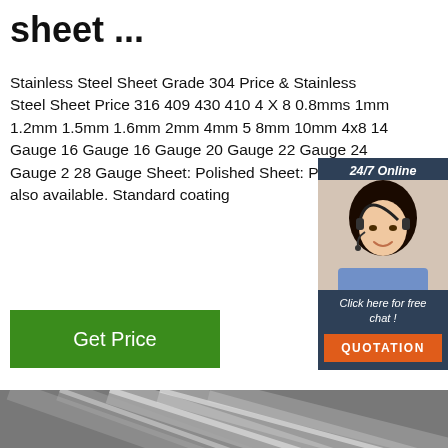sheet ...
Stainless Steel Sheet Grade 304 Price & Stainless Steel Sheet Price 316 409 430 410 4 X 8 0.8mms 1mm 1.2mm 1.5mm 1.6mm 2mm 4mm 5 8mm 10mm 4x8 14 Gauge 16 Gauge 16 Gauge 20 Gauge 22 Gauge 24 Gauge 2 28 Gauge Sheet: Polished Sheet: Polish is also available. Standard coating
[Figure (photo): Customer service representative with headset, smiling, used for 24/7 online chat widget]
24/7 Online
Click here for free chat !
QUOTATION
[Figure (photo): Stainless steel round bars/rods shown in a bundle, silver metallic surface, industrial product photo]
[Figure (other): TOP badge/logo in orange and red colors]